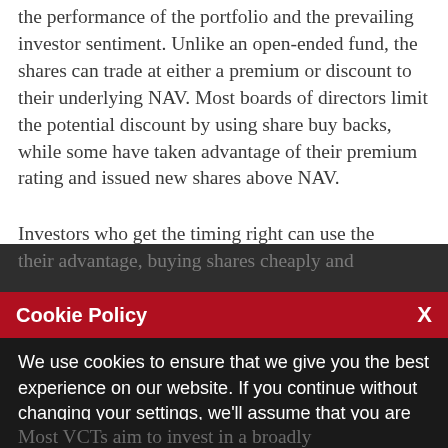the performance of the portfolio and the prevailing investor sentiment. Unlike an open-ended fund, the shares can trade at either a premium or discount to their underlying NAV. Most boards of directors limit the potential discount by using share buy backs, while some have taken advantage of their premium rating and issued new shares above NAV.
Investors who get the timing right can use the discount to
Cookie Policy
We use cookies to ensure that we give you the best experience on our website. If you continue without changing your settings, we'll assume that you are happy to receive all cookies from this website. If you would like to change your preferences you may do so by following the instructions here.
Most VCTs aim to invest in a broadly